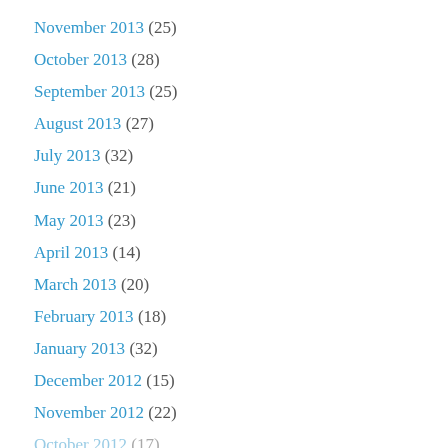November 2013 (25)
October 2013 (28)
September 2013 (25)
August 2013 (27)
July 2013 (32)
June 2013 (21)
May 2013 (23)
April 2013 (14)
March 2013 (20)
February 2013 (18)
January 2013 (32)
December 2012 (15)
November 2012 (22)
October 2012 (17)